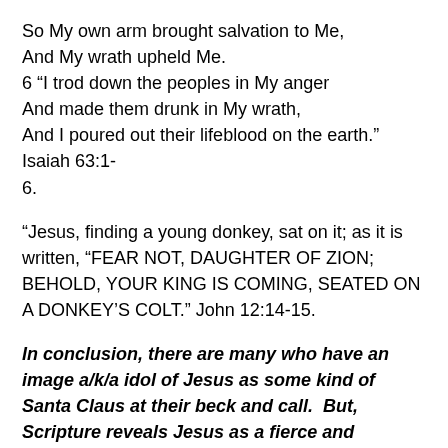So My own arm brought salvation to Me,
And My wrath upheld Me.
6 “I trod down the peoples in My anger
And made them drunk in My wrath,
And I poured out their lifeblood on the earth.” Isaiah 63:1-6.
“Jesus, finding a young donkey, sat on it; as it is written, “FEAR NOT, DAUGHTER OF ZION;  BEHOLD, YOUR KING IS COMING, SEATED ON A DONKEY’S COLT.” John 12:14-15.
In conclusion, there are many who have an image a/k/a idol of Jesus as some kind of Santa Claus at their beck and call.  But, Scripture reveals Jesus as a fierce and victorious warrior Who tramples the wicked in His wrath as part of His justice and His salvation of